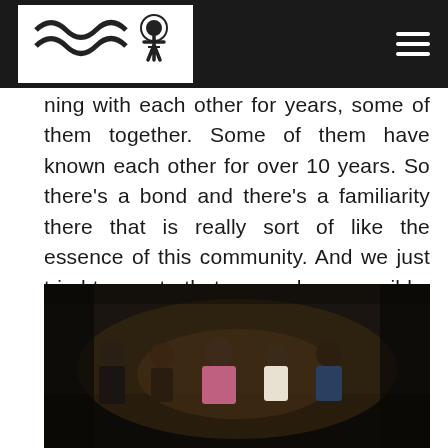ning with each other for years, some of them together. Some of them have known each other for over 10 years. So there's a bond and there's a familiarity there that is really sort of like the essence of this community. And we just tried to create that as much as possible. through the poetry through the scenes, bringing them together, and also on the shoot. Like the poets would show up on set on days that they weren't even shooting, they would just show up to hang out, they would run lines with each other, they would rehearse the poetry, they would give notes, like performing notes, to each other. So it was in front of the camera, and behind the camera, there was a real feeling of community that I think is really sort of like the magic behind the film.
[Figure (photo): A group of five people sitting together outdoors at night, illuminated by a warm light source. The scene has a community/film set atmosphere.]